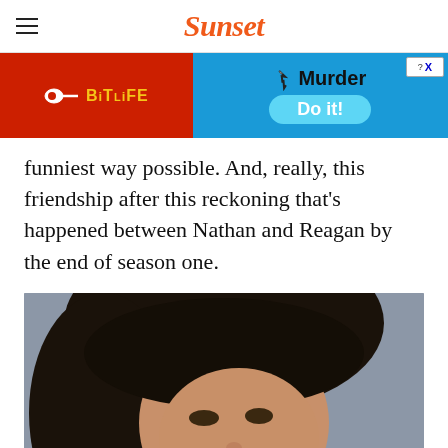Sunset
[Figure (screenshot): BitLife advertisement banner: red left panel with BitLife logo, blue right panel with 'Murder Do it!' text]
funniest way possible. And, really, this friendship after this reckoning that’s happened between Nathan and Reagan by the end of season one.
[Figure (photo): Portrait photo of a woman with dark curly hair against a grey/blue textured wall background]
[Figure (screenshot): Sunset magazine advertisement: 'Ready to see the High Sierra? We put together the ultimate 3-day itinerary!' with mountain lake scenery]